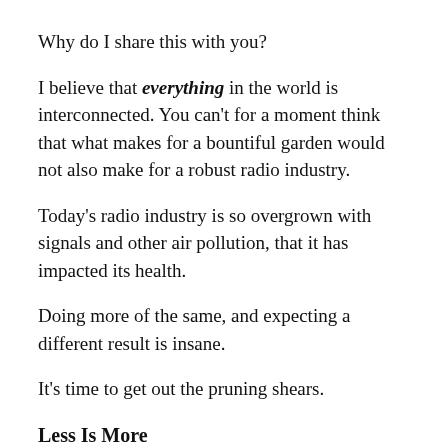Why do I share this with you?
I believe that everything in the world is interconnected. You can't for a moment think that what makes for a bountiful garden would not also make for a robust radio industry.
Today's radio industry is so overgrown with signals and other air pollution, that it has impacted its health.
Doing more of the same, and expecting a different result is insane.
It's time to get out the pruning shears.
Less Is More
I believe that the way to improve the radio industry in America, to have more advertising revenues to support quality local services